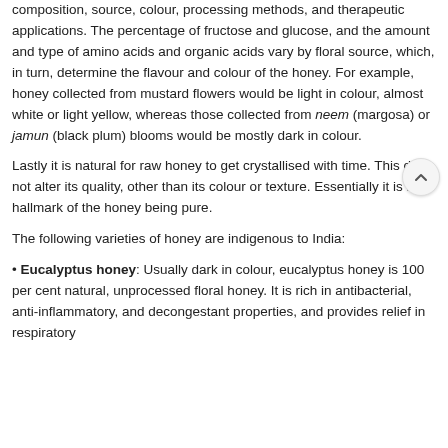composition, source, colour, processing methods, and therapeutic applications. The percentage of fructose and glucose, and the amount and type of amino acids and organic acids vary by floral source, which, in turn, determine the flavour and colour of the honey. For example, honey collected from mustard flowers would be light in colour, almost white or light yellow, whereas those collected from neem (margosa) or jamun (black plum) blooms would be mostly dark in colour.
Lastly it is natural for raw honey to get crystallised with time. This does not alter its quality, other than its colour or texture. Essentially it is a hallmark of the honey being pure.
The following varieties of honey are indigenous to India:
• Eucalyptus honey: Usually dark in colour, eucalyptus honey is 100 per cent natural, unprocessed floral honey. It is rich in antibacterial, anti-inflammatory, and decongestant properties, and provides relief in respiratory